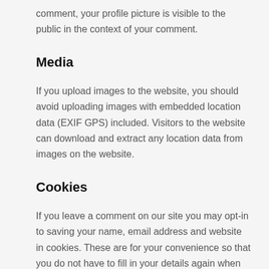comment, your profile picture is visible to the public in the context of your comment.
Media
If you upload images to the website, you should avoid uploading images with embedded location data (EXIF GPS) included. Visitors to the website can download and extract any location data from images on the website.
Cookies
If you leave a comment on our site you may opt-in to saving your name, email address and website in cookies. These are for your convenience so that you do not have to fill in your details again when you leave another comment. These cookies will last for one year.
If you visit our login page, we will set a temporary cookie to determine if your browser accepts cookies. This cookie contains